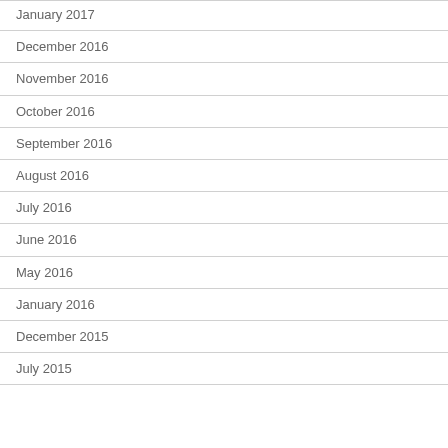January 2017
December 2016
November 2016
October 2016
September 2016
August 2016
July 2016
June 2016
May 2016
January 2016
December 2015
July 2015